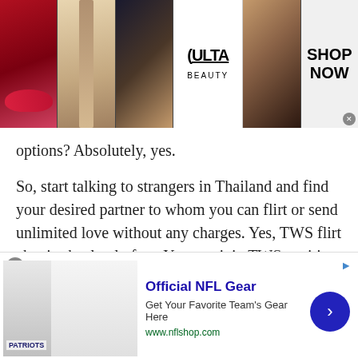[Figure (other): ULTA Beauty advertisement banner at top with makeup images (lips, brush, eye), ULTA logo, eye image, and SHOP NOW text with close button]
options? Absolutely, yes.
So, start talking to strangers in Thailand and find your desired partner to whom you can flirt or send unlimited love without any charges. Yes, TWS flirt chat is absolutely free. You can join TWS exciting random chat rooms without creating an account. Start free chat now without thinking about anything else.
[Figure (other): Scroll-to-top button: cyan/teal square with upward chevron arrow]
Roleplay chat
[Figure (other): NFL Shop advertisement banner at bottom: NFL jersey image with patriots branding, Official NFL Gear title, Get Your Favorite Team's Gear Here subtitle, www.nflshop.com URL, blue circular CTA button with right arrow, close X button]